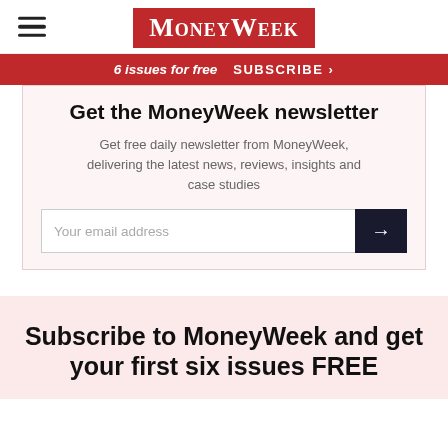[Figure (logo): MoneyWeek logo — white serif text on red background with hamburger menu icon on left]
6 issues for free   SUBSCRIBE >
Get the MoneyWeek newsletter
Get free daily newsletter from MoneyWeek, delivering the latest news, reviews, insights and case studies
Your email address [input field with arrow submit button]
Subscribe to MoneyWeek and get your first six issues FREE